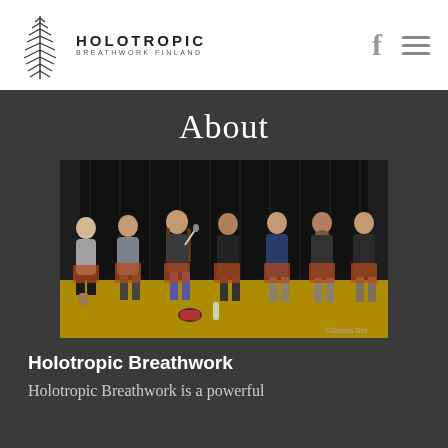HOLOTROPIC BREATHWORK FINLAND
About
[Figure (photo): Group of seven people seated on chairs on a yellow floor against a dark curtain backdrop, one person speaking into a microphone, panel discussion setting]
Holotropic Breathwork
Holotropic Breathwork is a powerful